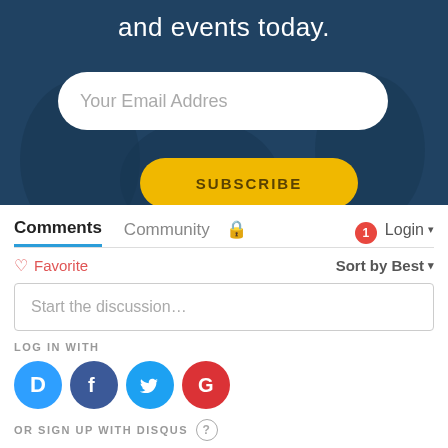[Figure (screenshot): Blue-tinted banner image with text 'and events today.', an email input field with placeholder 'Your Email Addres', and a yellow SUBSCRIBE button]
and events today.
Your Email Addres
SUBSCRIBE
Comments  Community  🔒  1  Login ▾
♡ Favorite
Sort by Best ▾
Start the discussion...
LOG IN WITH
[Figure (logo): Social login icons: Disqus (D), Facebook (F), Twitter bird, Google (G)]
OR SIGN UP WITH DISQUS ?
Name